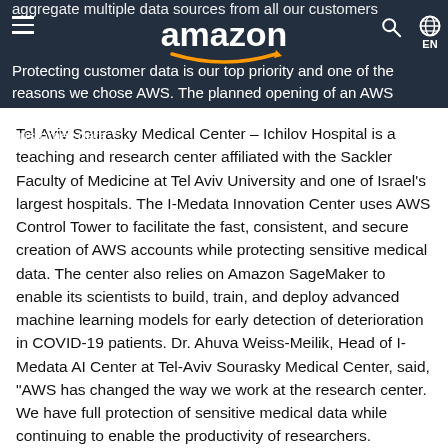amazon
aggregate multiple data sources from all our customers touch points to personalize the shopping experience. Protecting customer data is our top priority and one of the reasons we chose AWS. The planned opening of an AWS Region in Israel allows us to meet regulation for sensitive customer data."
Tel Aviv Sourasky Medical Center – Ichilov Hospital is a teaching and research center affiliated with the Sackler Faculty of Medicine at Tel Aviv University and one of Israel's largest hospitals. The I-Medata Innovation Center uses AWS Control Tower to facilitate the fast, consistent, and secure creation of AWS accounts while protecting sensitive medical data. The center also relies on Amazon SageMaker to enable its scientists to build, train, and deploy advanced machine learning models for early detection of deterioration in COVID-19 patients. Dr. Ahuva Weiss-Meilik, Head of I-Medata AI Center at Tel-Aviv Sourasky Medical Center, said, "AWS has changed the way we work at the research center. We have full protection of sensitive medical data while continuing to enable the productivity of researchers. Developing our